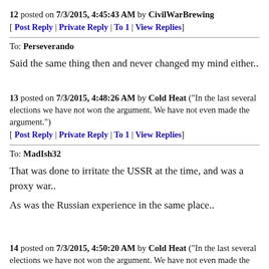12 posted on 7/3/2015, 4:45:43 AM by CivilWarBrewing
[ Post Reply | Private Reply | To 1 | View Replies]
To: Perseverando
Said the same thing then and never changed my mind either..
13 posted on 7/3/2015, 4:48:26 AM by Cold Heat ("In the last several elections we have not won the argument. We have not even made the argument.")
[ Post Reply | Private Reply | To 1 | View Replies]
To: MadIsh32
That was done to irritate the USSR at the time, and was a proxy war..
As was the Russian experience in the same place..
14 posted on 7/3/2015, 4:50:20 AM by Cold Heat ("In the last several elections we have not won the argument. We have not even made the